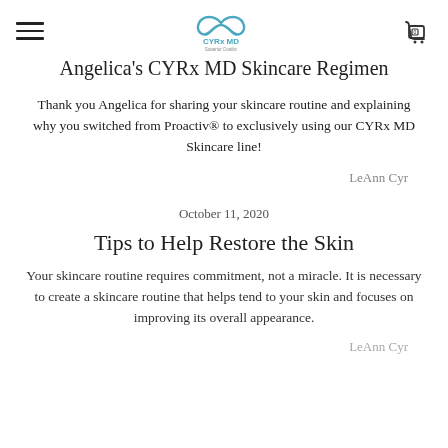CYRx MD Skincare logo with hamburger menu and cart icon showing 0
Angelica's CYRx MD Skincare Regimen
Thank you Angelica for sharing your skincare routine and explaining why you switched from Proactiv® to exclusively using our CYRx MD Skincare line!
LeAnn Cyr
October 11, 2020
Tips to Help Restore the Skin
Your skincare routine requires commitment, not a miracle. It is necessary to create a skincare routine that helps tend to your skin and focuses on improving its overall appearance.
LeAnn Cyr